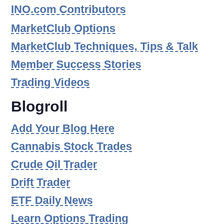INO.com Contributors
MarketClub Options
MarketClub Techniques, Tips & Talk
Member Success Stories
Trading Videos
Blogroll
Add Your Blog Here
Cannabis Stock Trades
Crude Oil Trader
Drift Trader
ETF Daily News
Learn Options Trading
Online Stock Trading Guide
Options Trading Mastery
Stock Gumshoe
Traders Day Trading